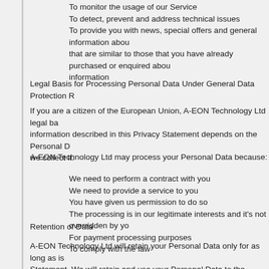To monitor the usage of our Service
To detect, prevent and address technical issues
To provide you with news, special offers and general information about that are similar to those that you have already purchased or enquired about information
Legal Basis for Processing Personal Data Under General Data Protection R
If you are a citizen of the European Union, A-EON Technology Ltd legal basis for information described in this Privacy Statement depends on the Personal Data we collect it.
A-EON Technology Ltd may process your Personal Data because:
We need to perform a contract with you
We need to provide a service to you
You have given us permission to do so
The processing is in our legitimate interests and it's not overridden by yo
For payment processing purposes
To comply with the law
Retention of Data
A-EON Technology Ltd will retain your Personal Data only for as long as is Statement. We will retain and use your Personal Data to the extent necess example, if we are required to retain your data to comply with applicable la agreements and policies.